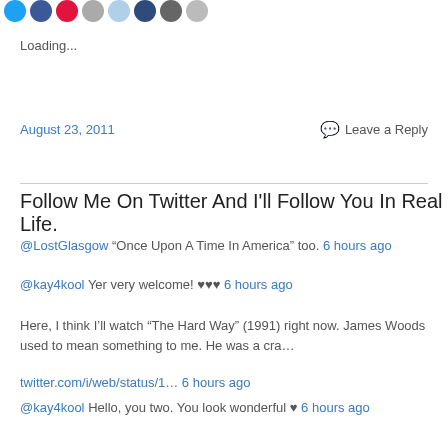[Figure (illustration): Row of social sharing icon circles in various colors (blue Twitter, blue Facebook, red, grey, light blue, dark blue, grey, grey)]
Loading...
August 23, 2011     Leave a Reply
Follow Me On Twitter And I'll Follow You In Real Life.
@LostGlasgow “Once Upon A Time In America” too. 6 hours ago
@kay4kool Yer very welcome! ♥♥♥ 6 hours ago
Here, I think I’ll watch “The Hard Way” (1991) right now. James Woods used to mean something to me. He was a cra… twitter.com/i/web/status/1… 6 hours ago
@kay4kool Hello, you two. You look wonderful ♥ 6 hours ago